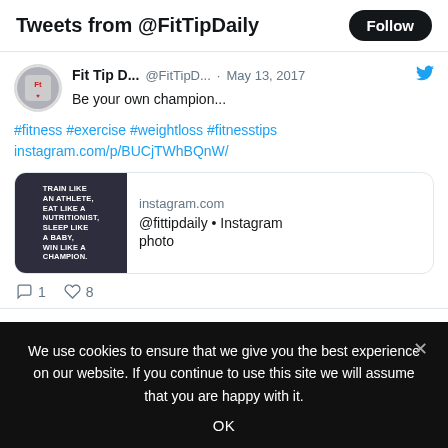Tweets from @FitTipDaily
Fit Tip D... @FitTipD... · May 13, 2017
Be your own champion...
#fitness #exercise #weightloss #fitnesstips instagram.com/p/BUCjTWhBQnW/
[Figure (screenshot): Link card for instagram.com showing a dark motivational image with text: TRAIN LIKE AN ATHLETE, EAT LIKE A NUTRITIONIST, SLEEP LIKE A BABY, WIN LIKE A CHAMPION. Domain: instagram.com, Title: @fittipdaily • Instagram photo]
1  8
We use cookies to ensure that we give you the best experience on our website. If you continue to use this site we will assume that you are happy with it.
OK